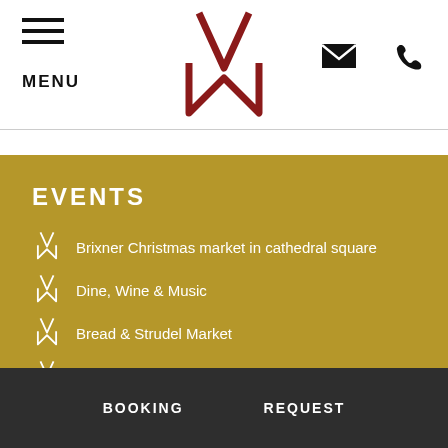MENU
[Figure (logo): VM monogram logo in dark red]
EVENTS
Brixner Christmas market in cathedral square
Dine, Wine & Music
Bread & Strudel Market
Water & Light Festival
BOOKING   REQUEST